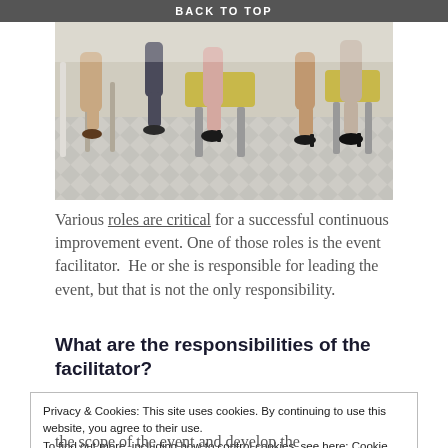BACK TO TOP
[Figure (photo): Photo showing legs and feet of people seated in chairs with a patterned tile floor visible, suggesting a group meeting or event setting.]
Various roles are critical for a successful continuous improvement event. One of those roles is the event facilitator. He or she is responsible for leading the event, but that is not the only responsibility.
What are the responsibilities of the facilitator?
Privacy & Cookies: This site uses cookies. By continuing to use this website, you agree to their use.
To find out more, including how to control cookies, see here: Cookie Policy
Close and accept
the scope of the event and develop the